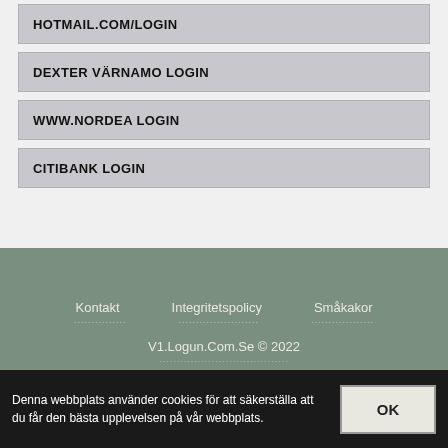HOTMAIL.COM/LOGIN
DEXTER VÄRNAMO LOGIN
WWW.NORDEA LOGIN
CITIBANK LOGIN
Kontakt   Integritetspolicy   Småkakor
V1.Logun.Com.Se © 2022
Denna webbplats använder cookies för att säkerställa att du får den bästa upplevelsen på vår webbplats.